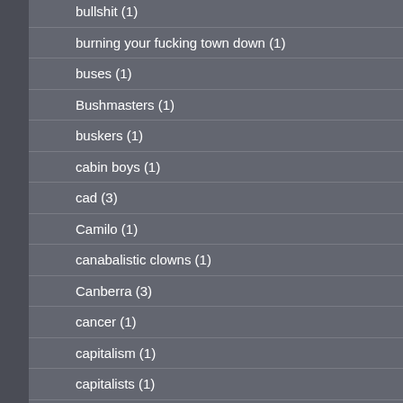bullshit (1)
burning your fucking town down (1)
buses (1)
Bushmasters (1)
buskers (1)
cabin boys (1)
cad (3)
Camilo (1)
canabalistic clowns (1)
Canberra (3)
cancer (1)
capitalism (1)
capitalists (1)
Captain Malcom Renolds (1)
career advancement (1)
Carlo Sands (3)
Carlo's Corner (8)